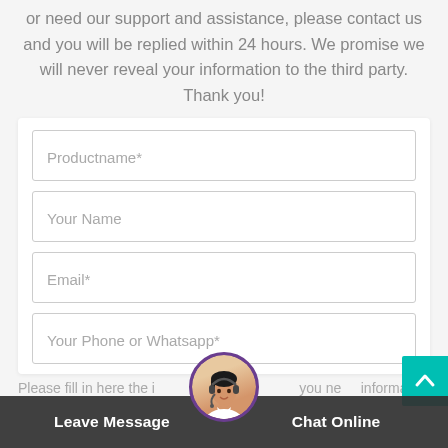or need our support and assistance, please contact us and you will be replied within 24 hours. We promise we will never reveal your information to the third party. Thank you!
[Figure (screenshot): Contact form with fields: Productname*, Your Name, Email*, Your Phone or Whatsapp*]
Please fill in here the info you need information
Leave Message
Chat Online